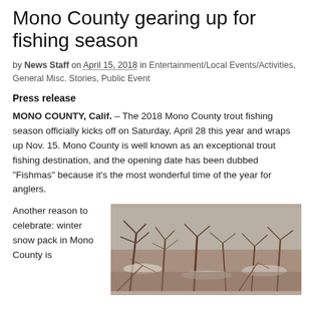Mono County gearing up for fishing season
by News Staff on April 15, 2018 in Entertainment/Local Events/Activities, General Misc. Stories, Public Event
Press release
MONO COUNTY, Calif. – The 2018 Mono County trout fishing season officially kicks off on Saturday, April 28 this year and wraps up Nov. 15. Mono County is well known as an exceptional trout fishing destination, and the opening date has been dubbed “Fishmas” because it’s the most wonderful time of the year for anglers.
Another reason to celebrate: winter snow pack in Mono County is
[Figure (photo): Outdoor winter nature scene with bare trees and snow, likely a creek or river area in Mono County]